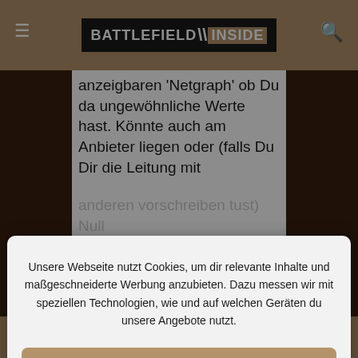[Figure (logo): Battlefield Inside logo in header bar with hamburger menu and search icon]
anzeigbaren 'Netgraph' ob Du da ungewöhnliche Werte hast. Könnte auch am Anbieter liegen oder (falls Du Dir die Leitung mit
Unsere Webseite nutzt Cookies, um dir relevante Inhalte und maßgeschneiderte Werbung anzubieten. Dazu messen wir mit speziellen Technologien, wie und auf welchen Geräten du unsere Angebote nutzt.
Cookies akzeptieren
Einstellungen